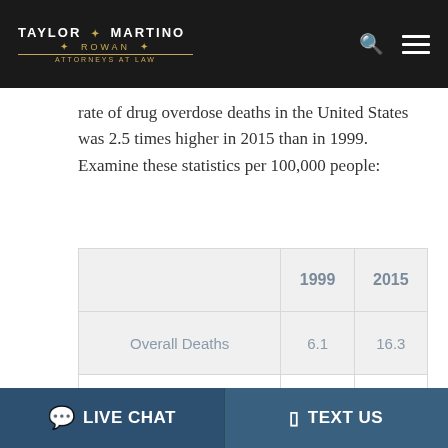TAYLOR MARTINO ROWAN ATTORNEYS AT LAW
rate of drug overdose deaths in the United States was 2.5 times higher in 2015 than in 1999. Examine these statistics per 100,000 people:
|  | 1999 | 2015 |
| --- | --- | --- |
| Overall Deaths | 6.1 | 16.3 |
| Male Deaths | 8.2 | 20.8 |
| Female Deaths | 3.9 | 11.8 |
LIVE CHAT   TEXT US